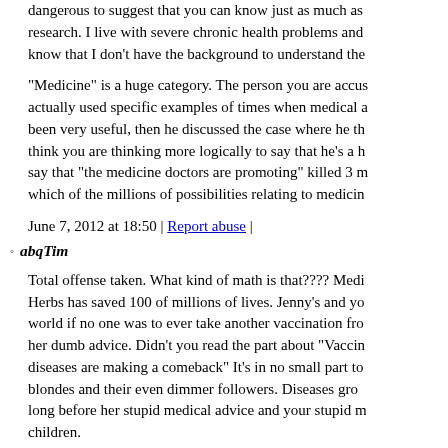dangerous to suggest that you can know just as much as research. I live with severe chronic health problems and know that I don't have the background to understand the
"Medicine" is a huge category. The person you are accusing actually used specific examples of times when medical advice been very useful, then he discussed the case where he think you are thinking more logically to say that he's a say that "the medicine doctors are promoting" killed 3 m which of the millions of possibilities relating to medicine
June 7, 2012 at 18:50 | Report abuse |
abqTim
Total offense taken. What kind of math is that???? Herbs has saved 100 of millions of lives. Jenny's and yo world if no one was to ever take another vaccination fro her dumb advice. Didn't you read the part about "Vaccin diseases are making a comeback" It's in no small part to blondes and their even dimmer followers. Diseases gro long before her stupid medical advice and your stupid m children.
June 7, 2012 at 18:57 | Report abuse |
inewt